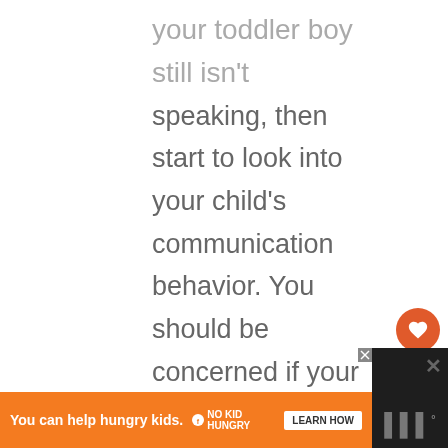your toddler boy still isn't speaking, then start to look into your child's communication behavior. You should be concerned if your younger toddler is not able to use single words to express himself. As your toddler gets older and becomes a preschooler, you should look for multi-word sentences. If this doesn't happen, then take your
[Figure (infographic): Orange circular heart/like button with count of 1, and a share button below it on the right sidebar]
[Figure (infographic): Orange advertisement banner: 'You can help hungry kids. NO KID HUNGRY LEARN HOW' with close button and dark overlay on right]